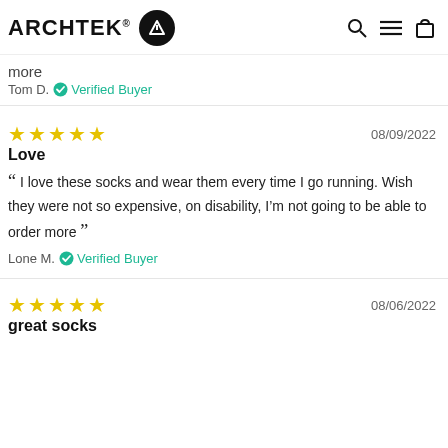ARCHTEK® [logo] [search] [menu] [cart]
more
Tom D. ✓ Verified Buyer
[Figure (other): 5 yellow stars rating]
08/09/2022
Love
“ I love these socks and wear them every time I go running. Wish they were not so expensive, on disability, I’m not going to be able to order more ”
Lone M. ✓ Verified Buyer
[Figure (other): 5 yellow stars rating]
08/06/2022
great socks